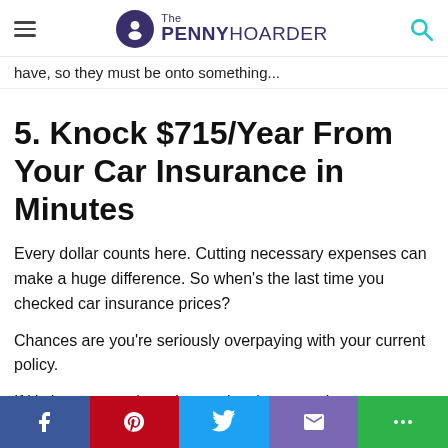The PENNY HOARDER
have, so they must be onto something...
5. Knock $715/Year From Your Car Insurance in Minutes
Every dollar counts here. Cutting necessary expenses can make a huge difference. So when's the last time you checked car insurance prices?
Chances are you're seriously overpaying with your current policy.
If it's been more than six months since your last car